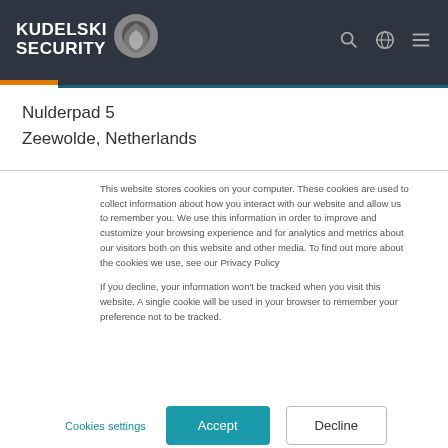Kudelski Security
Nulderpad 5
Zeewolde, Netherlands
This website stores cookies on your computer. These cookies are used to collect information about how you interact with our website and allow us to remember you. We use this information in order to improve and customize your browsing experience and for analytics and metrics about our visitors both on this website and other media. To find out more about the cookies we use, see our Privacy Policy
If you decline, your information won't be tracked when you visit this website. A single cookie will be used in your browser to remember your preference not to be tracked.
Cookies settings | Accept | Decline